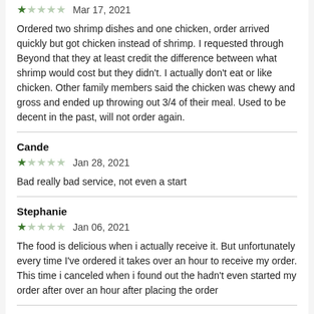Ordered two shrimp dishes and one chicken, order arrived quickly but got chicken instead of shrimp. I requested through Beyond that they at least credit the difference between what shrimp would cost but they didn't. I actually don't eat or like chicken. Other family members said the chicken was chewy and gross and ended up throwing out 3/4 of their meal. Used to be decent in the past, will not order again.
Cande
★☆☆☆☆  Jan 28, 2021
Bad really bad service, not even a start
Stephanie
★☆☆☆☆  Jan 06, 2021
The food is delicious when i actually receive it. But unfortunately every time I've ordered it takes over an hour to receive my order. This time i canceled when i found out the hadn't even started my order after over an hour after placing the order
Yuri